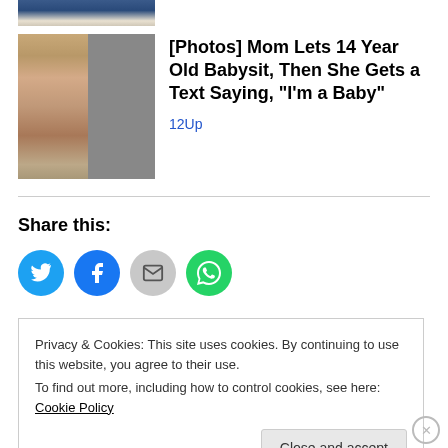[Figure (photo): Partial top of image showing a blue/navy item and cream/white background]
[Figure (photo): Two-panel thumbnail photo of a young girl with long blonde hair, indoor setting]
[Photos] Mom Lets 14 Year Old Babysit, Then She Gets a Text Saying, "I'm a Baby"
12Up
Share this:
Privacy & Cookies: This site uses cookies. By continuing to use this website, you agree to their use.
To find out more, including how to control cookies, see here: Cookie Policy
Close and accept